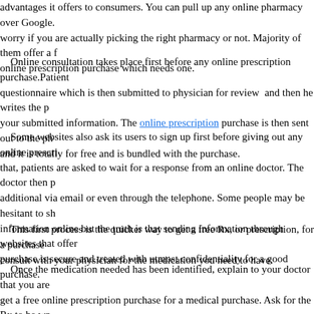advantages it offers to consumers. You can pull up any online pharmacy over Google. worry if you are actually picking the right pharmacy or not. Majority of them offer a f online prescription purchase which needs one.
Online consultation takes place first before any online prescription purchase. Patients questionnaire which is then submitted to physician for review and then he writes the p your submitted information. The online prescription purchase is then sent out to the ph and it is totally for free and is bundled with the purchase.
Some websites also ask its users to sign up first before giving out any online prescri that, patients are asked to wait for a response from an online doctor. The doctor then p additional via email or even through the telephone. Some people may be hesitant to sh information online but the truth is that sending information through websites that offer purchase is secure and treated with utmost confidentiality for a good purchase.
This first process is the quicker way to get a free Rx, or prescription, for a purchase consult with your physician for the medication you need to have.
Once the medication needed has been identified, explain to your doctor that you are get a free online prescription purchase for a medical purchase. Ask for the Rx to be wr supply. A three-month supply will enable you to space out the online requests for a ref proof of a prescription each time you make the purchase at the website .